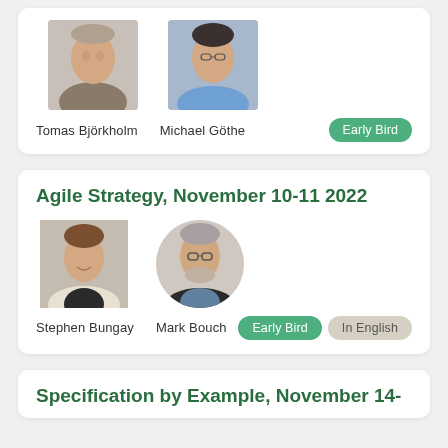[Figure (photo): Headshots of Tomas Björkholm and Michael Göthe]
Tomas Björkholm  Michael Göthe
Early Bird
Agile Strategy, November 10-11 2022
[Figure (photo): Headshots of Stephen Bungay and Mark Bouch]
Stephen Bungay  Mark Bouch
Early Bird  In English
Specification by Example, November 14-